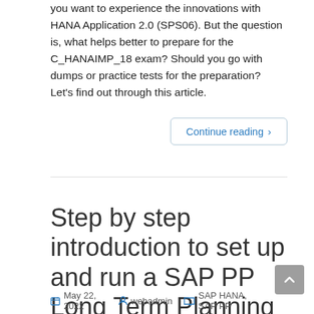you want to experience the innovations with HANA Application 2.0 (SPS06). But the question is, what helps better to prepare for the C_HANAIMP_18 exam? Should you go with dumps or practice tests for the preparation? Let's find out through this article.
Continue reading ›
Step by step introduction to set up and run a SAP PP Long Term Planning Scenario.
May 22, 2022   webadmin   SAP HANA, SAP PP